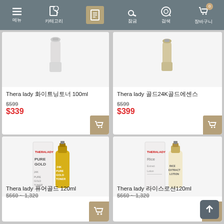메뉴 | 검색 | 잠금 | 검색 | 장바구니 0
[Figure (photo): Product image top-left: skincare bottle 100ml]
Thera lady 화이트닝토너 100ml
$599
$339
[Figure (photo): Product image top-right: 24K gold skincare]
Thera lady 골드24K골드에센스
$599
$399
[Figure (photo): Product image bottom-left: Pure Gold Toner 120ml bottle with box]
Thera lady 퓨어골드 120ml
$660 ~ 1,320
[Figure (photo): Product image bottom-right: Rice Extract Lotion 120ml bottle with box]
Thera lady 라이스로션120ml
$660 ~ 1,320